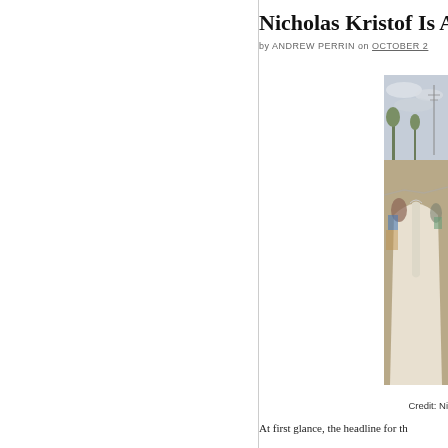Nicholas Kristof Is A
by ANDREW PERRIN on OCTOBER 2
[Figure (photo): A person in a white shirt viewed from behind in a crowded outdoor market scene, with trees and utility poles in the background under a cloudy sky.]
Credit: Ni
At first glance, the headline for th